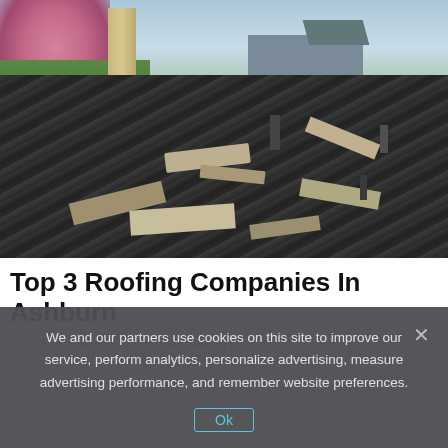[Figure (photo): Damaged roof with lifted and broken dark grey asphalt shingles. A cherry blossom tree and chimney visible in upper left; suburban houses in background under overcast sky.]
Top 3 Roofing Companies In Ashburn
Roof Restoration | Sponsored Search | Sponsored
We and our partners use cookies on this site to improve our service, perform analytics, personalize advertising, measure advertising performance, and remember website preferences.
Ok